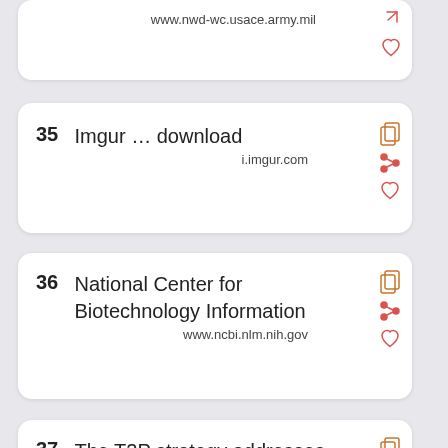www.nwd-wc.usace.army.mil
35  Imgur … download
i.imgur.com
36  National Center for Biotechnology Information
www.ncbi.nlm.nih.gov
37  The T2P strategy addresses the attitudes and values which influence the actions and behaviour of all role players in the province's education system.
wcedonline.westerncape.gov.za